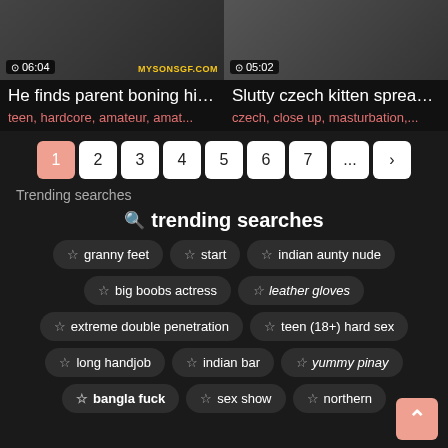[Figure (screenshot): Video thumbnail left: He finds parent boning his... with duration 06:04 and watermark MYSONSGF.COM]
[Figure (screenshot): Video thumbnail right: Slutty czech kitten spreads... with duration 05:02]
He finds parent boning his...
Slutty czech kitten spreads...
teen, hardcore, amateur, amat...
czech, close up, masturbation,...
1 2 3 4 5 6 7 ... >
Trending searches
trending searches
granny feet
start
indian aunty nude
big boobs actress
leather gloves
extreme double penetration
teen (18+) hard sex
long handjob
indian bar
yummy pinay
bangla fuck
sex show
northern